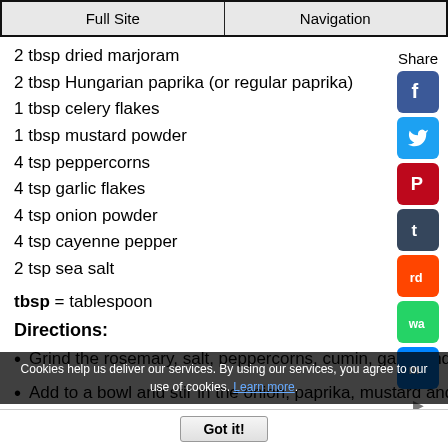Full Site | Navigation
2 tbsp dried marjoram
2 tbsp Hungarian paprika (or regular paprika)
1 tbsp celery flakes
1 tbsp mustard powder
4 tsp peppercorns
4 tsp garlic flakes
4 tsp onion powder
4 tsp cayenne pepper
2 tsp sea salt
tbsp = tablespoon
Directions:
Grind the rosemary, salt, peppercorns, cumin, garlic and flakes
Add to a bowl and stir in the onion, paprika, mustard and
Cookies help us deliver our services. By using our services, you agree to our use of cookies. Learn more.
Got it!